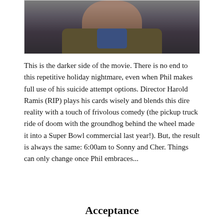[Figure (photo): A dark, moody photograph of a man's face (Bill Murray as Phil Connors from Groundhog Day), looking directly at the camera with a serious expression. He is wearing a brown jacket and blue shirt. The background is dark and blurred.]
This is the darker side of the movie. There is no end to this repetitive holiday nightmare, even when Phil makes full use of his suicide attempt options. Director Harold Ramis (RIP) plays his cards wisely and blends this dire reality with a touch of frivolous comedy (the pickup truck ride of doom with the groundhog behind the wheel made it into a Super Bowl commercial last year!). But, the result is always the same: 6:00am to Sonny and Cher. Things can only change once Phil embraces...
Acceptance